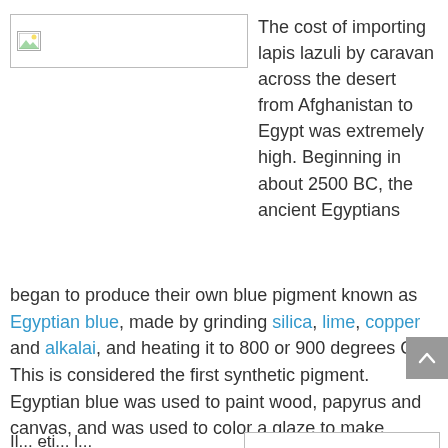[Figure (photo): Broken image placeholder (image failed to load), shown as a small icon in a bordered rectangle.]
The cost of importing lapis lazuli by caravan across the desert from Afghanistan to Egypt was extremely high. Beginning in about 2500 BC, the ancient Egyptians began to produce their own blue pigment known as Egyptian blue, made by grinding silica, lime, copper and alkalai, and heating it to 800 or 900 degrees C. This is considered the first synthetic pigment. Egyptian blue was used to paint wood, papyrus and canvas, and was used to color a glaze to make faience beads, inlays, and pots.